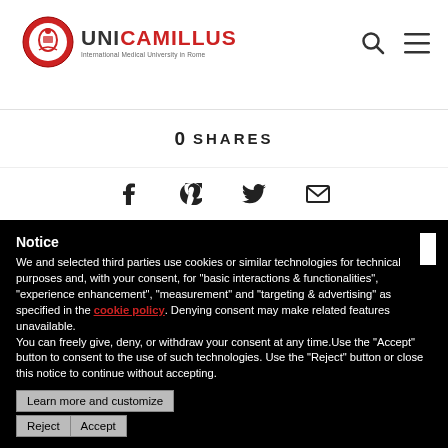[Figure (logo): UniCamillus International Medical University in Rome logo with circular emblem and text]
0 SHARES
[Figure (infographic): Social sharing icons: Facebook, Pinterest, Twitter, Email]
Notice
We and selected third parties use cookies or similar technologies for technical purposes and, with your consent, for "basic interactions & functionalities", "experience enhancement", "measurement" and "targeting & advertising" as specified in the cookie policy. Denying consent may make related features unavailable.
You can freely give, deny, or withdraw your consent at any time.Use the "Accept" button to consent to the use of such technologies. Use the "Reject" button or close this notice to continue without accepting.
Learn more and customize
Reject  Accept